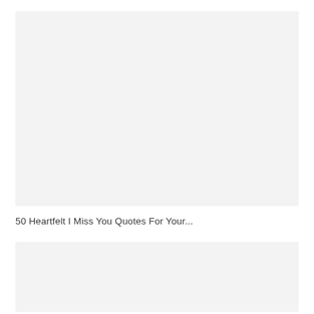[Figure (other): Large light gray placeholder image block at the top of the page]
50 Heartfelt I Miss You Quotes For Your...
[Figure (other): Smaller light gray placeholder image block at the bottom of the page]